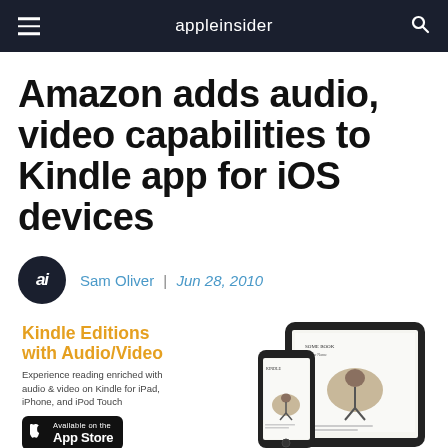appleinsider
Amazon adds audio, video capabilities to Kindle app for iOS devices
Sam Oliver | Jun 28, 2010
[Figure (screenshot): Kindle Editions with Audio/Video promotional image showing an iPad and iPhone displaying a Kindle book with a bird illustration, with text 'Experience reading enriched with audio & video on Kindle for iPad, iPhone, and iPod Touch' and an App Store download badge.]